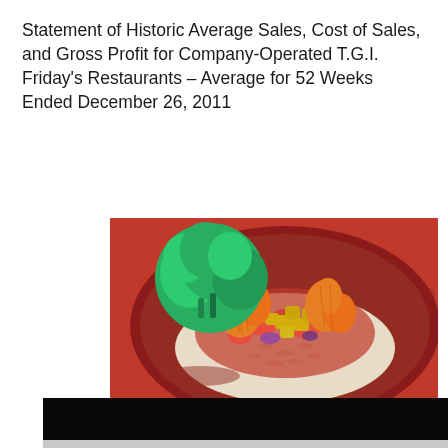Statement of Historic Average Sales, Cost of Sales, and Gross Profit for Company-Operated T.G.I. Friday's Restaurants – Average for 52 Weeks Ended December 26, 2011
[Figure (photo): A red dish/skillet containing food topped with mandarin orange segments, pineapple chunks, tomato salsa, and broccoli in the background.]
[Figure (photo): A dark/black video thumbnail or image at the bottom of the page.]